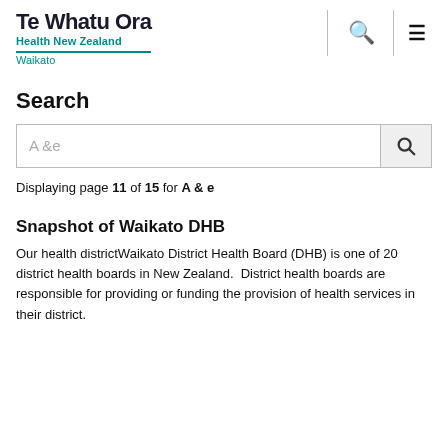Te Whatu Ora Health New Zealand Waikato
Search
A &e
Displaying page 11 of 15 for A & e
Snapshot of Waikato DHB
Our health districtWaikato District Health Board (DHB) is one of 20 district health boards in New Zealand.  District health boards are responsible for providing or funding the provision of health services in their district.